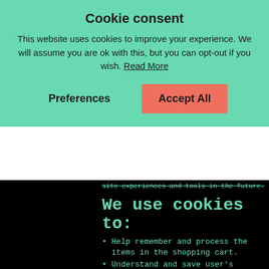Cookie consent
This website uses cookies to improve your experience. We will assume you are ok with this, but you can opt-out if you wish. Read More
Preferences    Accept All
site experiences and tools in the future.
We use cookies to:
Help remember and process the items in the shopping cart.
Understand and save user's preferences for future visits.
Keep track of advertisements.
Compile aggregate data about site traffic and site interactions in order to offer better site experiences and tools in the future. We may also use trusted third-party services that track this information